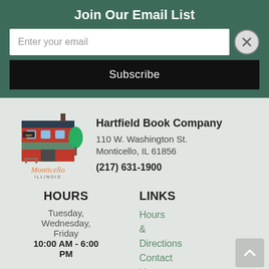Join Our Email List
Enter your email
Subscribe
[Figure (illustration): Hartfield Book Company store illustration with Monticello Illinois text]
Hartfield Book Company
110 W. Washington St.
Monticello, IL 61856
(217) 631-1900
HOURS
LINKS
Tuesday,
Wednesday,
Friday
10:00 AM - 6:00 PM
Hours & Directions
Contact Us